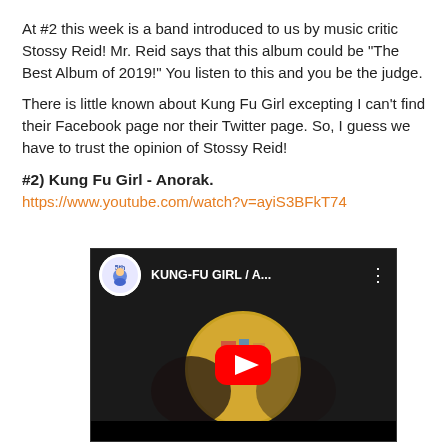At #2 this week is a band introduced to us by music critic Stossy Reid! Mr. Reid says that this album could be "The Best Album of 2019!" You listen to this and you be the judge.
There is little known about Kung Fu Girl excepting I can't find their Facebook page nor their Twitter page. So, I guess we have to trust the opinion of Stossy Reid!
#2) Kung Fu Girl - Anorak.
https://www.youtube.com/watch?v=ayiS3BFkT74
[Figure (screenshot): YouTube video embed showing KUNG-FU GIRL / A... with channel icon and play button over a dark thumbnail with colorful circular image]